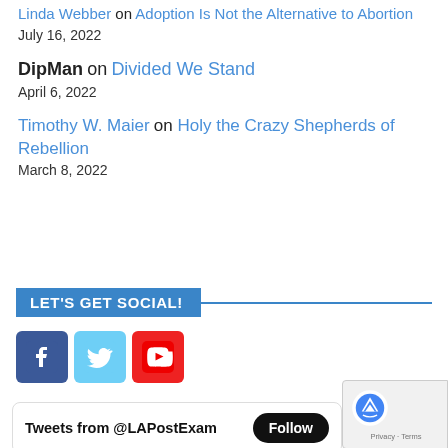Linda Webber on Adoption Is Not the Alternative to Abortion
July 16, 2022
DipMan on Divided We Stand
April 6, 2022
Timothy W. Maier on Holy the Crazy Shepherds of Rebellion
March 8, 2022
LET'S GET SOCIAL!
[Figure (infographic): Social media icons: Facebook (blue square with f), Twitter (light blue square with bird), YouTube (red square with play button)]
[Figure (other): reCAPTCHA badge with Google logo, Privacy - Terms text]
Tweets from @LAPostExam  Follow